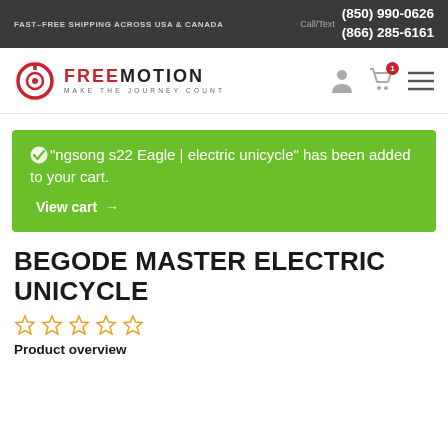FAST-FREE SHIPPING ACROSS USA & CANADA | Call/Text (850) 990-0626 (866) 285-6161
[Figure (logo): FreeMotion logo with red circular icon and text FREEMOTION MAKE THE JOURNEY COUNT, with user icon, cart icon with 1 badge, and hamburger menu icon]
"Kingsong s22 Eagle | electric unicycle" has been added to your cart. View cart →
BEGODE MASTER ELECTRIC UNICYCLE
☆☆☆☆☆
Product overview